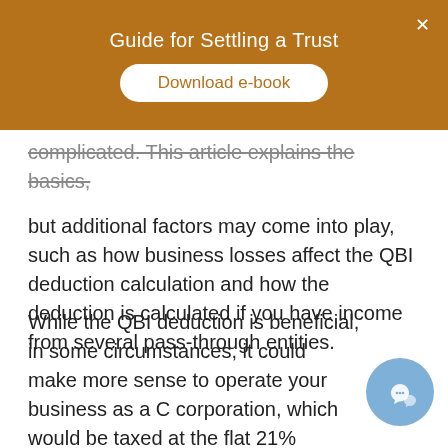Guide for Settling a Trust
[Figure (other): Download e-book button on brown/amber banner with close X button]
complicated. This article explains the basics, but additional factors may come into play, such as how business losses affect the QBI deduction calculation and how the deduction is calculated if you have income from several pass-through entities.
While the QBI deduction is beneficial, in some circumstances, it could make more sense to operate your business as a C corporation, which would be taxed at the flat 21% corporate income tax rate. Your tax advisor can help you sort through the complexities and find the best tax-smart strategies for